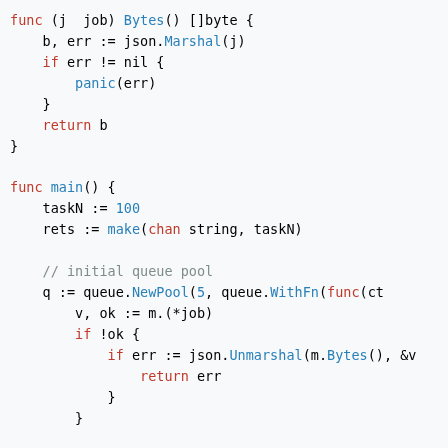[Figure (screenshot): Go language code snippet showing a Bytes() method and a main() function with queue pool initialization, channel operations, and JSON marshaling/unmarshaling.]